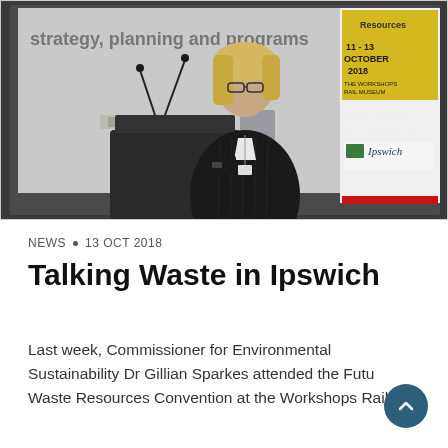[Figure (photo): A woman with blonde hair and glasses wearing a black pinstripe blazer speaks at a podium with microphones. Behind her is a presentation screen showing 'strategy, planning and programs' and 'GOALS'. On the right side is a conference banner reading '11-13 OCTOBER 2018, THE WORKSHOPS RAIL MUSEUM' and 'THANK YOU TO OUR PARTNERS + SPONSORS' with the City of Ipswich logo.]
NEWS • 13 OCT 2018
Talking Waste in Ipswich
Last week, Commissioner for Environmental Sustainability Dr Gillian Sparkes attended the Future Waste Resources Convention at the Workshops Rail